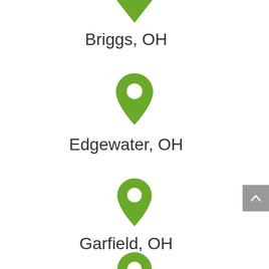[Figure (illustration): Green downward-pointing arrow/chevron at the top center of the page, partially cropped]
Briggs, OH
[Figure (illustration): Green map location pin icon with white circle hole in center]
Edgewater, OH
[Figure (illustration): Green map location pin icon with white circle hole in center]
Garfield, OH
[Figure (illustration): Green map location pin icon with white circle hole in center, partially cropped at bottom]